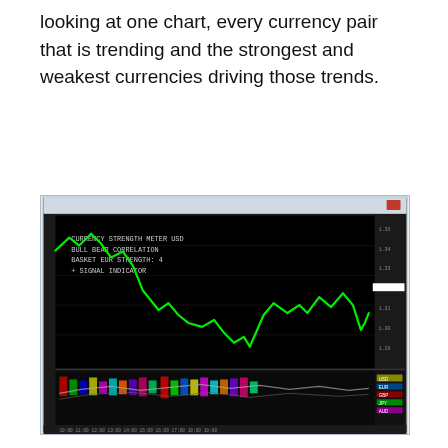looking at one chart, every currency pair that is trending and the strongest and weakest currencies driving those trends.
[Figure (screenshot): Screenshot of a forex trading platform showing a currency price chart with a green line chart on a black background. The upper portion shows a large price chart with a descending then recovering green line, with a data panel on the right side showing red numbers. The lower portion shows a multi-colored indicator/strength panel with multiple colored lines and bars. A date/time axis is visible at the bottom.]